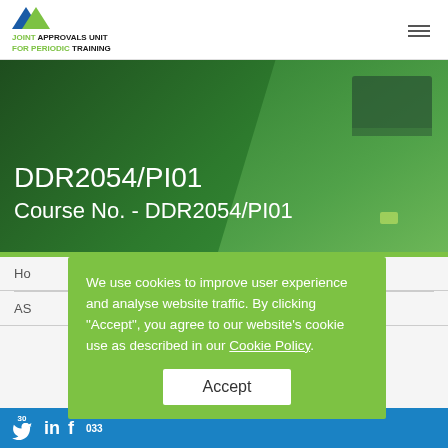JOINT APPROVALS UNIT FOR PERIODIC TRAINING
[Figure (screenshot): Hero banner with dark green background showing truck/vehicle imagery, displaying course title DDR2054/PI01 and Course No. - DDR2054/PI01 in white text]
DDR2054/PI01
Course No. - DDR2054/PI01
Ho
AS
We use cookies to improve user experience and analyse website traffic. By clicking "Accept", you agree to our website's cookie use as described in our Cookie Policy.
Accept
033